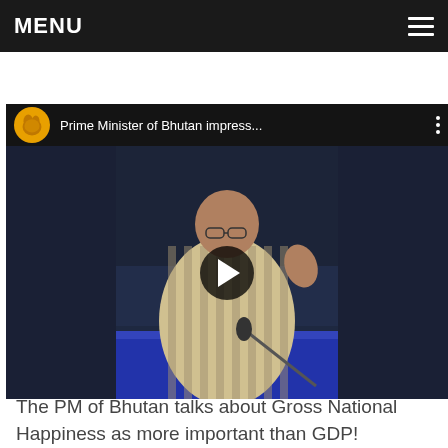MENU ≡
[Figure (screenshot): YouTube-style video thumbnail showing the Prime Minister of Bhutan speaking at a podium, wearing traditional striped Bhutanese attire. The video title reads 'Prime Minister of Bhutan impress...' with a channel logo and play button overlay.]
The PM of Bhutan talks about Gross National Happiness as more important than GDP!